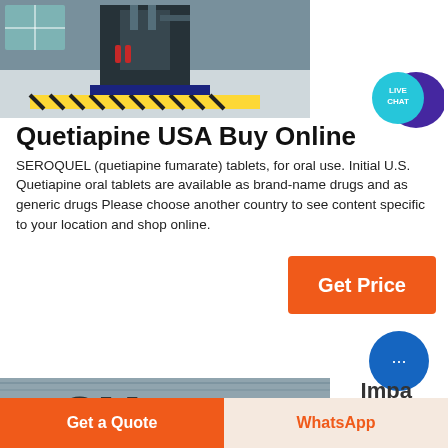[Figure (photo): Industrial machinery or warehouse equipment photo, dark metallic with yellow safety stripes]
[Figure (logo): Live Chat bubble icon — teal circle with chat bubble and purple speech bubble overlay, text LIVE CHAT]
Quetiapine USA Buy Online
SEROQUEL (quetiapine fumarate) tablets, for oral use. Initial U.S. Quetiapine oral tablets are available as brand-name drugs and as generic drugs Please choose another country to see content specific to your location and shop online.
[Figure (other): Orange Get Price button]
[Figure (photo): Industrial/trade show floor with large letters CM visible]
[Figure (other): Blue circular chat bubble icon with ellipsis]
Impa
Grinder
Get a Quote
WhatsApp